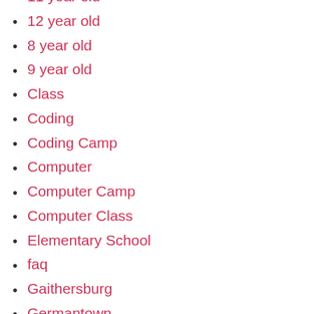11 year old
12 year old
8 year old
9 year old
Class
Coding
Coding Camp
Computer
Computer Camp
Computer Class
Elementary School
faq
Gaithersburg
Germantown
Instruction
Introductory
Kentlands
Kids
Middle School